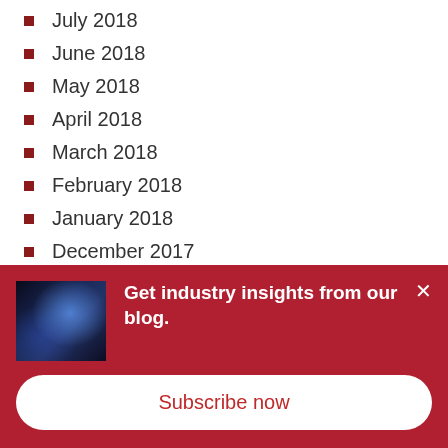July 2018
June 2018
May 2018
April 2018
March 2018
February 2018
January 2018
December 2017
November 2017
October 2017
September 2017
Get industry insights from our blog.
Subscribe now